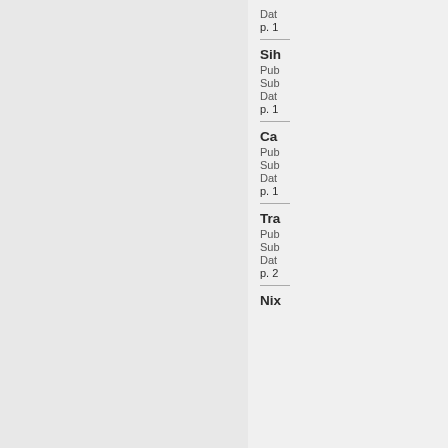Dat
p. 1
Sih
Pub
Sub
Dat
p. 1
Ca
Pub
Sub
Dat
p. 1
Tra
Pub
Sub
Dat
p. 2
Nix